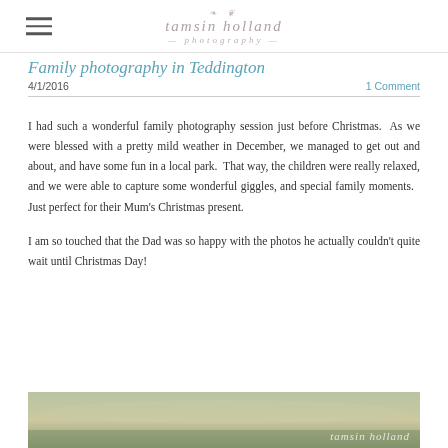tamsin holland photography
Family photography in Teddington
4/1/2016   1 Comment
I had such a wonderful family photography session just before Christmas.  As we were blessed with a pretty mild weather in December, we managed to get out and about, and have some fun in a local park.  That way, the children were really relaxed, and we were able to capture some wonderful giggles, and special family moments.   Just perfect for their Mum's Christmas present.
I am so touched that the Dad was so happy with the photos he actually couldn't quite wait until Christmas Day!
[Figure (photo): Outdoor family photography session in a park, blurred nature background with green and brown tones, watermark reading tamsin holland]